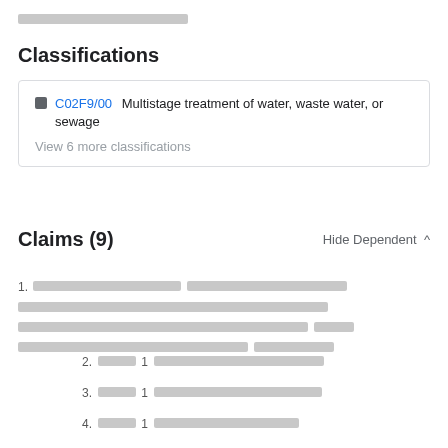[redacted]
Classifications
C02F9/00  Multistage treatment of water, waste water, or sewage
View 6 more classifications
Claims (9)
Hide Dependent ^
1. [redacted claim text]
2. [redacted] 1[redacted]
3. [redacted] 1[redacted]
4. [redacted] 1[redacted]